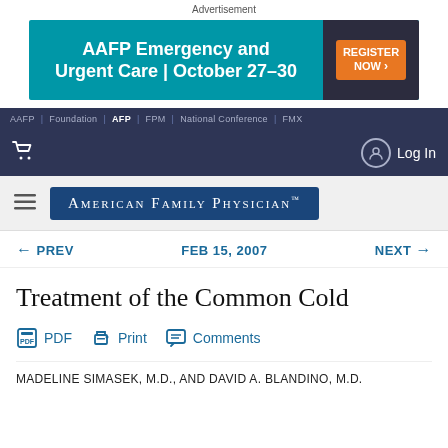Advertisement
[Figure (other): AAFP Emergency and Urgent Care | October 27-30 advertisement banner with teal background and orange Register Now button]
AAFP | Foundation | AFP | FPM | National Conference | FMX
Log In
[Figure (logo): American Family Physician logo on dark blue background]
← PREV   FEB 15, 2007   NEXT →
Treatment of the Common Cold
PDF   Print   Comments
MADELINE SIMASEK, M.D., AND DAVID A. BLANDINO, M.D.